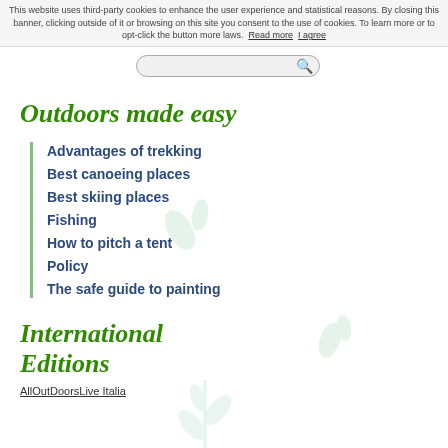This website uses third-party cookies to enhance the user experience and statistical reasons. By closing this banner, clicking outside of it or browsing on this site you consent to the use of cookies. To learn more or to opt-click the button more laws. Read more  I agree
Outdoors made easy
Advantages of trekking
Best canoeing places
Best skiing places
Fishing
How to pitch a tent
Policy
The safe guide to painting
International Editions
AllOutDoorsLive Italia